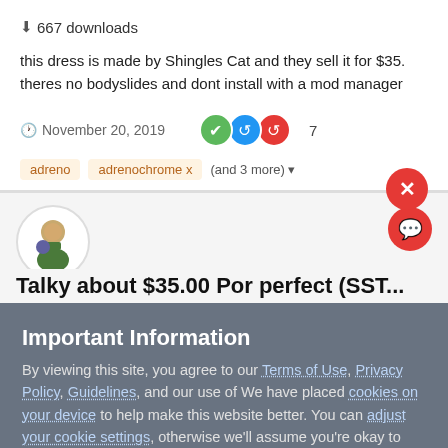667 downloads
this dress is made by Shingles Cat and they sell it for $35. theres no bodyslides and dont install with a mod manager
November 20, 2019  7
adreno
adrenochrome x
(and 3 more)
[Figure (screenshot): User avatar showing a game character]
Talky about $35.00 Por perfect (SST...
Important Information
By viewing this site, you agree to our Terms of Use, Privacy Policy, Guidelines, and our use of We have placed cookies on your device to help make this website better. You can adjust your cookie settings, otherwise we'll assume you're okay to continue..
I accept